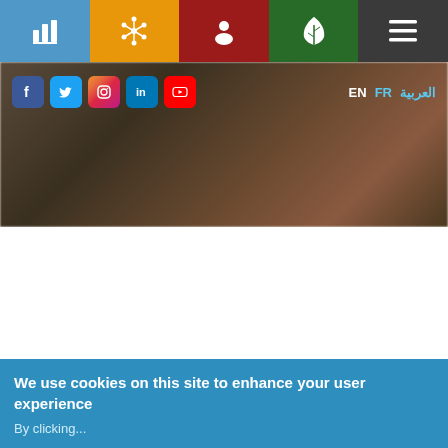[Figure (screenshot): Top navigation bar with 5 colored icon tiles: blue (bar chart icon), orange (network icon), red (person icon), green (leaf icon), dark gray (hamburger menu icon)]
[Figure (screenshot): Hero banner with blurred mountain/rock background image, social media icons (Facebook, Twitter, Instagram, LinkedIn, YouTube) on left, and language selectors (EN, FR, Arabic) on right]
On:  16 February 2021
We use cookies on this site to enhance your user experience
By clicking...